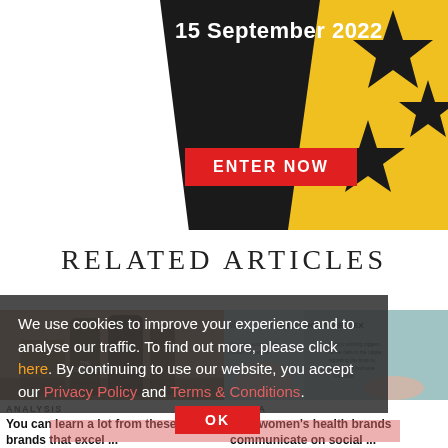[Figure (illustration): Promotional banner with black background, date '15 September 2022', red 'ENTER NOW' button, and yellow background with black stars pattern on the right.]
RELATED ARTICLES
[Figure (photo): Left article thumbnail showing whisky bottles (The Glenlivet) on a wooden surface.]
ANALYSIS
You can learn a lot from these 10 brands that excel ...
[Figure (infographic): Right article thumbnail showing 'lilu THE LET DOWN REFLEX' breastfeeding infographic on teal background.]
MEDIA
How women's health brands communicate on social ...
We use cookies to improve your experience and to analyse our traffic. To find out more, please click here. By continuing to use our website, you accept our Privacy Policy and Terms & Conditions.